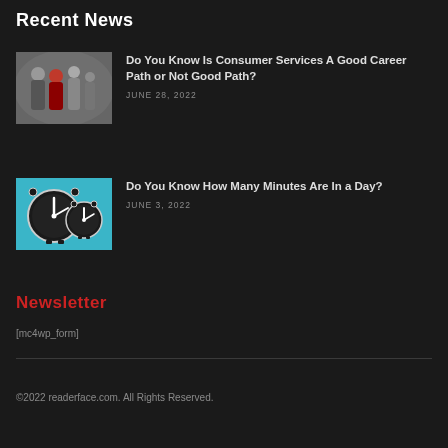Recent News
[Figure (photo): Photo of business people walking in an office or corporate corridor]
Do You Know Is Consumer Services A Good Career Path or Not Good Path?
JUNE 28, 2022
[Figure (photo): Photo of two analog clocks on a blue background]
Do You Know How Many Minutes Are In a Day?
JUNE 3, 2022
Newsletter
[mc4wp_form]
©2022 readerface.com. All Rights Reserved.